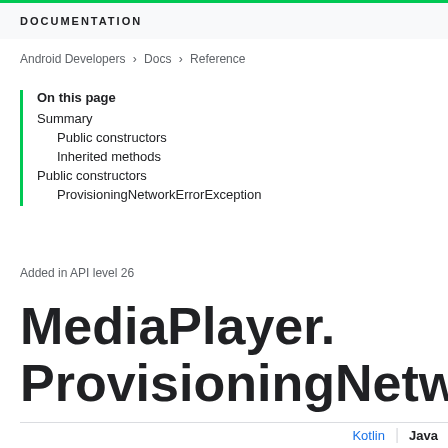DOCUMENTATION
Android Developers > Docs > Reference
On this page
Summary
Public constructors
Inherited methods
Public constructors
ProvisioningNetworkErrorException
Added in API level 26
MediaPlayer.
ProvisioningNetworkEr